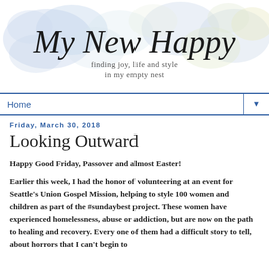[Figure (logo): Blog logo: 'My New Happy' in cursive handwriting with watercolor background (blue, yellow, green pastel blobs). Subtitle: 'finding joy, life and style in my empty nest']
Home ▼
Friday, March 30, 2018
Looking Outward
Happy Good Friday, Passover and almost Easter!
Earlier this week, I had the honor of volunteering at an event for Seattle's Union Gospel Mission, helping to style 100 women and children as part of the #sundaybest project.  These women have experienced homelessness, abuse or addiction, but are now on the path to healing and recovery.  Every one of them had a difficult story to tell, about horrors that I can't begin to...